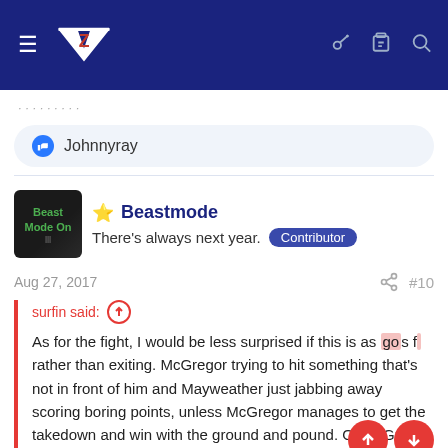MZ navigation bar
Johnnyray
Beastmode
There's always next year. Contributor
Aug 27, 2017  #10
surfin said:
As for the fight, I would be less surprised if this is as [follows] far rather than exiting. McGregor trying to hit something that's not in front of him and Mayweather just jabbing away scoring boring points, unless McGregor manages to get the takedown and win with the ground and pound. Or McGregor just pushes and holds him in the corner and just flays away.